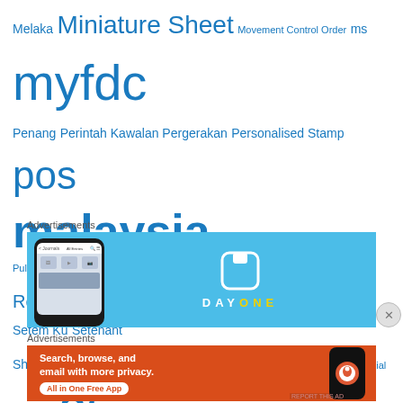Melaka Miniature Sheet Movement Control Order ms myfdc Penang Perintah Kawalan Pergerakan Personalised Stamp pos malaysia postal history postmark Post Office Pulau Pinang Putrajaya Reign Associates Sabah Sarawak Setemku Setem Ku Setenant Sheetlet singapore SODA Special effect Special Effect MS Stamp unusual unusual MS
Advertisements
[Figure (screenshot): DayOne app advertisement with blue background showing a phone mockup and the DayOne logo and name]
Advertisements
[Figure (screenshot): DuckDuckGo advertisement on orange/red background: Search, browse, and email with more privacy. All in One Free App]